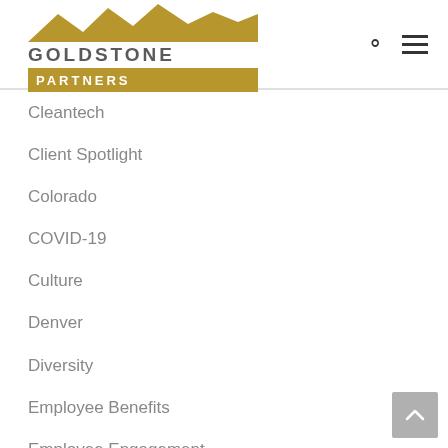Goldstone Partners
Cleantech
Client Spotlight
Colorado
COVID-19
Culture
Denver
Diversity
Employee Benefits
Employee Engagement
Employee Retention
Employer Brand
Entrepreneur